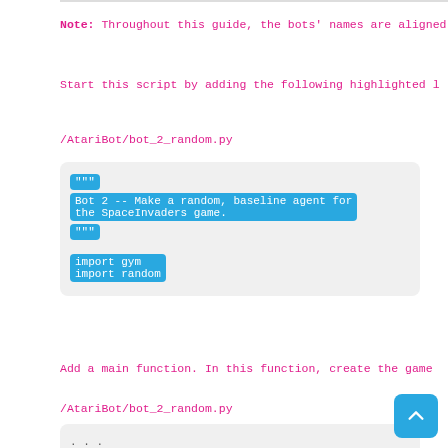Note: Throughout this guide, the bots' names are aligned
Start this script by adding the following highlighted l
/AtariBot/bot_2_random.py
[Figure (screenshot): Code block showing Python docstring and imports with blue highlighting: '""" Bot 2 -- Make a random, baseline agent for the SpaceInvaders game. """ import gym import random']
Add a main function. In this function, create the game
/AtariBot/bot_2_random.py
[Figure (screenshot): Code block showing: '... import gym import random']